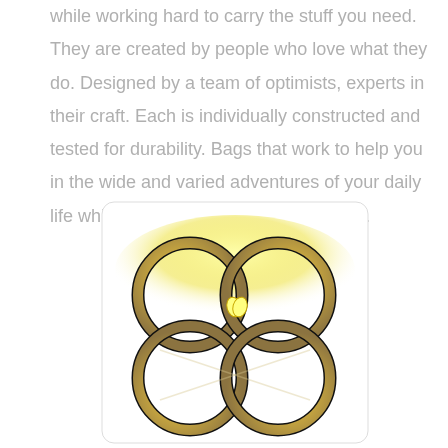while working hard to carry the stuff you need. They are created by people who love what they do. Designed by a team of optimists, experts in their craft. Each is individually constructed and tested for durability. Bags that work to help you in the wide and varied adventures of your daily life while looking great at the same time.
[Figure (logo): Four interlocked rings arranged in a 2x2 grid pattern, gold/yellow gradient coloring with black outlines, forming an Olympic-ring-style logo on a white background with rounded rectangle border and yellow glow.]